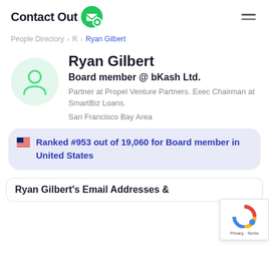ContactOut
People Directory > R > Ryan Gilbert
Ryan Gilbert
Board member @ bKash Ltd.
Partner at Propel Venture Partners. Exec Chairman at SmartBiz Loans.
San Francisco Bay Area
Ranked #953 out of 19,060 for Board member in United States
Ryan Gilbert's Email Addresses &